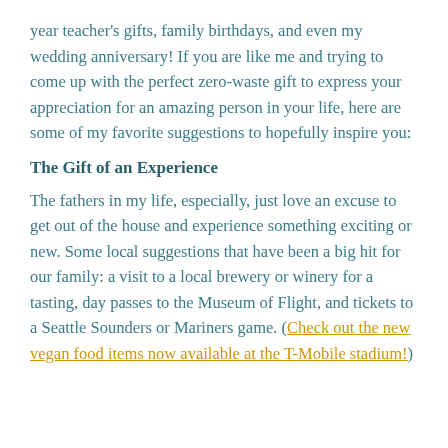year teacher's gifts, family birthdays, and even my wedding anniversary!  If you are like me and trying to come up with the perfect zero-waste gift to express your appreciation for an amazing person in your life, here are some of my favorite suggestions to hopefully inspire you:
The Gift of an Experience
The fathers in my life, especially, just love an excuse to get out of the house and experience something exciting or new.  Some local suggestions that have been a big hit for our family: a visit to a local brewery or winery for a tasting, day passes to the Museum of Flight, and tickets to a Seattle Sounders or Mariners game.  (Check out the new vegan food items now available at the T-Mobile stadium!)